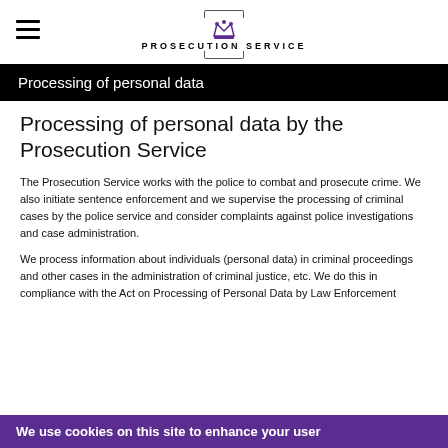PROSECUTION SERVICE
Processing of personal data
Processing of personal data by the Prosecution Service
The Prosecution Service works with the police to combat and prosecute crime. We also initiate sentence enforcement and we supervise the processing of criminal cases by the police service and consider complaints against police investigations and case administration.
We process information about individuals (personal data) in criminal proceedings and other cases in the administration of criminal justice, etc. We do this in compliance with the Act on Processing of Personal Data by Law Enforcement
We use cookies on this site to enhance your user